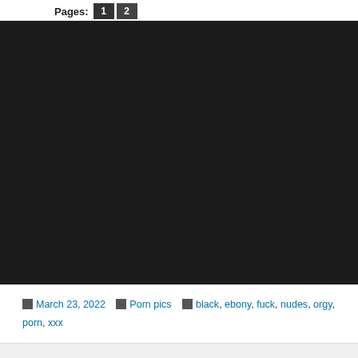Pages: 1 2
[Figure (photo): Dark/black background image area filling most of the page]
March 23, 2022  Porn pics  black, ebony, fuck, nudes, orgy, porn, xxx